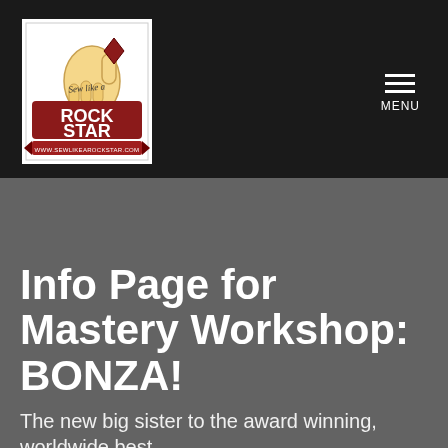[Figure (logo): Sew Like a Rock Star logo — cartoon hand pointing upward with guitar pick between fingers, text 'Sew Like a ROCK STAR' with red banner and URL www.sewlikearockstar.com]
Info Page for Mastery Workshop: BONZA!
The new big sister to the award winning, worldwide best